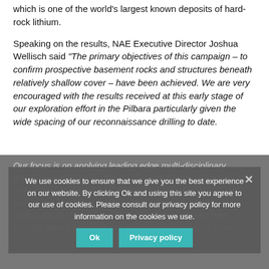which is one of the world's largest known deposits of hard-rock lithium.
Speaking on the results, NAE Executive Director Joshua Wellisch said "The primary objectives of this campaign – to confirm prospective basement rocks and structures beneath relatively shallow cover – have been achieved. We are very encouraged with the results received at this early stage of our exploration effort in the Pilbara particularly given the wide spacing of our reconnaissance drilling to date.
Our focus is on applying leading edge multi-disciplinary geoscience to identify chlorite-albite-carbonate alteration related and structural gold forged through a blanket of cover across our extensive Central Pilbara Projects and to systematically test them with drilling. We have also been critically aware of the lithium potential of the project given
We use cookies to ensure that we give you the best experience on our website. By clicking Ok and using this site you agree to our use of cookies. Please consult our privacy policy for more information on the cookies we use.